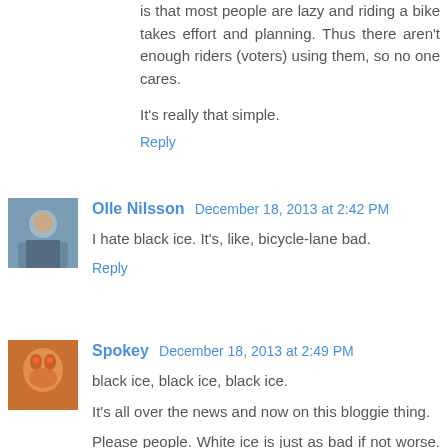is that most people are lazy and riding a bike takes effort and planning. Thus there aren't enough riders (voters) using them, so no one cares.
It's really that simple.
Reply
Olle Nilsson December 18, 2013 at 2:42 PM
I hate black ice. It's, like, bicycle-lane bad.
Reply
Spokey December 18, 2013 at 2:49 PM
black ice, black ice, black ice.
It's all over the news and now on this bloggie thing.
Please people. White ice is just as bad if not worse. I've cracked my ass on white ice many times but never black ice.